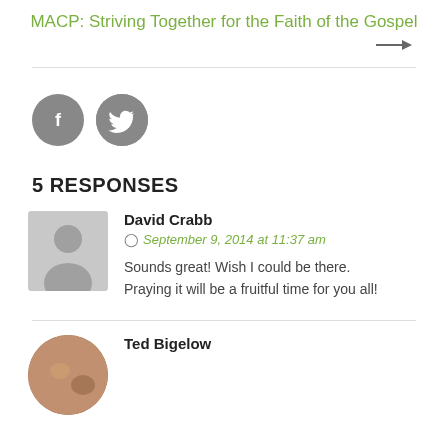MACP: Striving Together for the Faith of the Gospel
[Figure (infographic): Arrow pointing right (navigation element)]
[Figure (infographic): Facebook and Twitter social media icons (grey circles with white F and bird logos)]
5 RESPONSES
David Crabb
September 9, 2014 at 11:37 am
Sounds great! Wish I could be there.
Praying it will be a fruitful time for you all!
Ted Bigelow